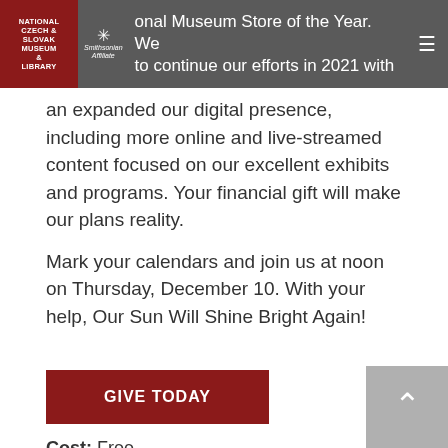National Museum Store of the Year. We plan to continue our efforts in 2021 with
an expanded our digital presence, including more online and live-streamed content focused on our excellent exhibits and programs. Your financial gift will make our plans reality.
Mark your calendars and join us at noon on Thursday, December 10. With your help, Our Sun Will Shine Bright Again!
GIVE TODAY
Cost: Free